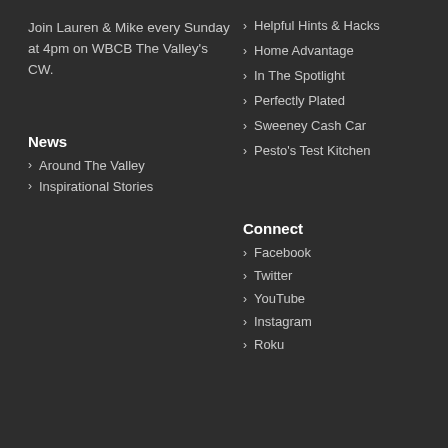Join Lauren & Mike every Sunday at 4pm on WBCB The Valley's CW.
Helpful Hints & Hacks
Home Advantage
In The Spotlight
Perfectly Plated
Sweeney Cash Car
Pesto's Test Kitchen
News
Connect
Around The Valley
Inspirational Stories
Facebook
Twitter
YouTube
Instagram
Roku